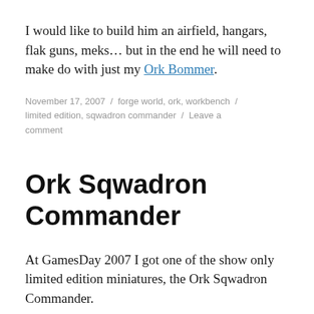I would like to build him an airfield, hangars, flak guns, meks… but in the end he will need to make do with just my Ork Bommer.
November 17, 2007 / forge world, ork, workbench / limited edition, sqwadron commander / Leave a comment
Ork Sqwadron Commander
At GamesDay 2007 I got one of the show only limited edition miniatures, the Ork Sqwadron Commander.